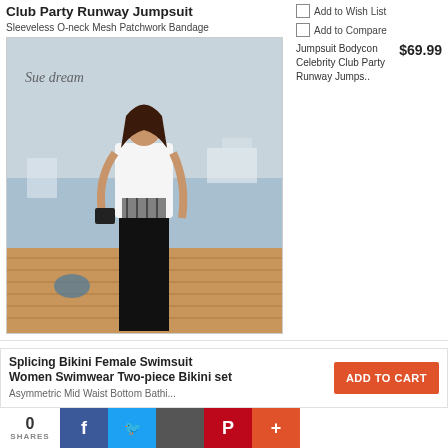Club Party Runway Jumpsuit
Sleeveless O-neck Mesh Patchwork Bandage
[Figure (photo): Fashion photo of a woman in a black and white sleeveless jumpsuit on a dock with waterfront background. Sue Dream watermark visible.]
Add to Wish List
Add to Compare
Jumpsuit Bodycon Celebrity Club Party Runway Jumps.. $69.99
Splicing Bikini Female Swimsuit Women Swimwear Two-piece Bikini set Asymmetric Mid Waist Bottom Bathing...
ADD TO CART
Add to Wish List
0 SHARES